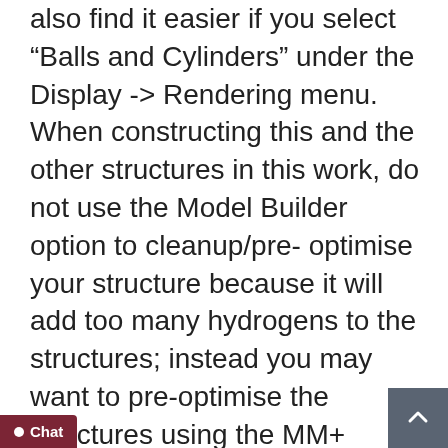also find it easier if you select “Balls and Cylinders” under the Display -> Rendering menu. When constructing this and the other structures in this work, do not use the Model Builder option to cleanup/pre-optimise your structure because it will add too many hydrogens to the structures; instead you may want to pre-optimise the structures using the MM+ method (with the exception of this first structure, for which you should not pre-optimise the